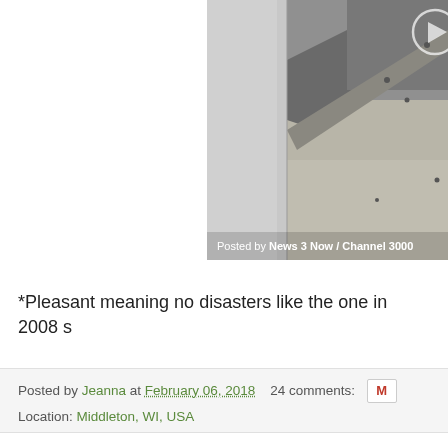[Figure (photo): Aerial or overhead grayscale photo of a shoreline or embankment area with water and sandy/rocky ground. Overlay text reads 'Posted by News 3 Now / Channel 3000']
*Pleasant meaning no disasters like the one in 2008 s
Posted by Jeanna at February 06, 2018   24 comments:   M
Location: Middleton, WI, USA